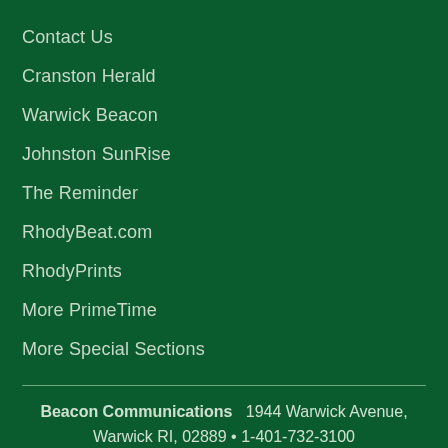Contact Us
Cranston Herald
Warwick Beacon
Johnston SunRise
The Reminder
RhodyBeat.com
RhodyPrints
More PrimeTime
More Special Sections
Beacon Communications   1944 Warwick Avenue, Warwick RI, 02889 • 1-401-732-3100
About Beacon Communications  •  Contact us  •
[Figure (screenshot): Advertisement banner for Official NFL Gear showing NFL jerseys, text 'Official NFL Gear', 'Get Your Favorite Team's Gear Here', 'www.nflshop.com', with a blue circular arrow button and close button.]